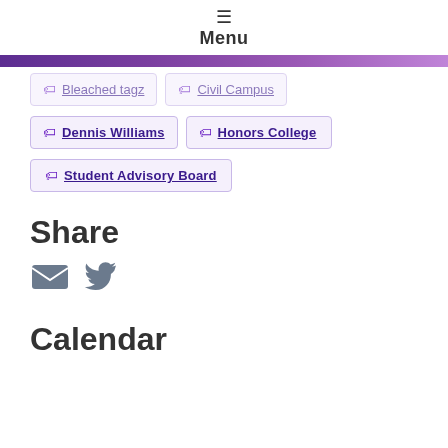Menu
Dennis Williams
Honors College
Student Advisory Board
Share
[Figure (infographic): Email and Twitter share icons]
Calendar